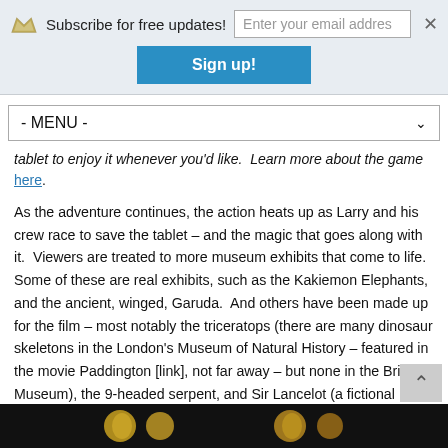Subscribe for free updates! [email input] [x] Sign up!
- MENU -
tablet to enjoy it whenever you'd like.  Learn more about the game here.
As the adventure continues, the action heats up as Larry and his crew race to save the tablet – and the magic that goes along with it.  Viewers are treated to more museum exhibits that come to life.  Some of these are real exhibits, such as the Kakiemon Elephants, and the ancient, winged, Garuda.  And others have been made up for the film – most notably the triceratops (there are many dinosaur skeletons in the London's Museum of Natural History – featured in the movie Paddington [link], not far away – but none in the British Museum), the 9-headed serpent, and Sir Lancelot (a fictional character – albeit a very entertaining one!).
[Figure (photo): Bottom strip showing museum artifacts on black background]